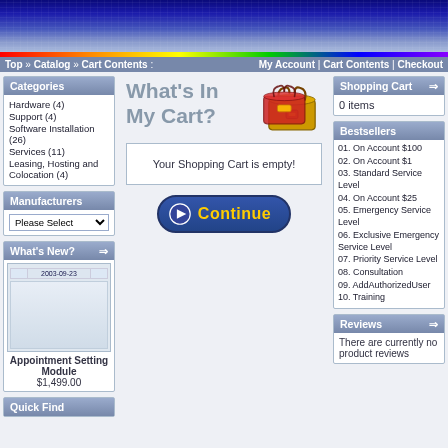Banner image - circuit board background
Top » Catalog » Cart Contents | My Account | Cart Contents | Checkout
Categories
Hardware (4)
Support (4)
Software Installation (26)
Services (11)
Leasing, Hosting and Colocation (4)
Manufacturers
Please Select
What's New?
[Figure (screenshot): Thumbnail of Appointment Setting Module product listing dated 2003-09-23]
Appointment Setting Module
$1,499.00
Quick Find
What's In My Cart?
Your Shopping Cart is empty!
[Figure (other): Continue button with play icon]
Shopping Cart
0 items
Bestsellers
01. On Account $100
02. On Account $1
03. Standard Service Level
04. On Account $25
05. Emergency Service Level
06. Exclusive Emergency Service Level
07. Priority Service Level
08. Consultation
09. AddAuthorizedUser
10. Training
Reviews
There are currently no product reviews